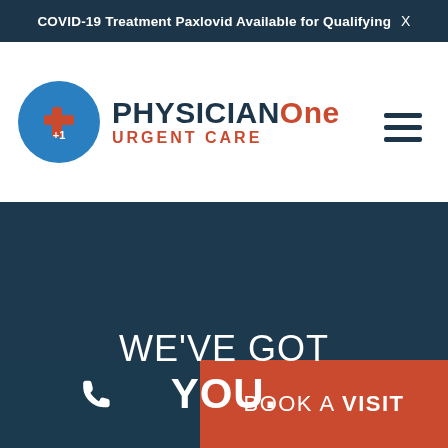COVID-19 Treatment Paxlovid Available for Qualifying X
[Figure (logo): PhysicianOne Urgent Care logo — blue circle with red cross and white text '+1', with wordmark 'PHYSICIANOne URGENT CARE' in blue and orange]
WE'VE GOT YOU.
BOOK A VISIT